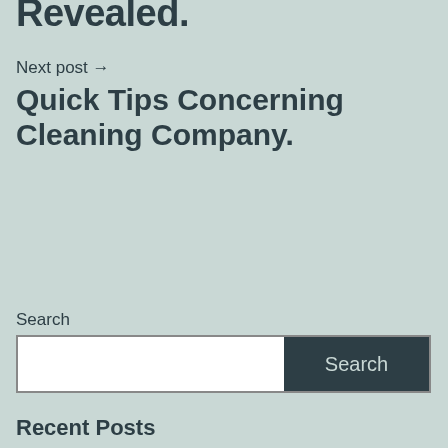Revealed.
Next post →
Quick Tips Concerning Cleaning Company.
Search
Recent Posts